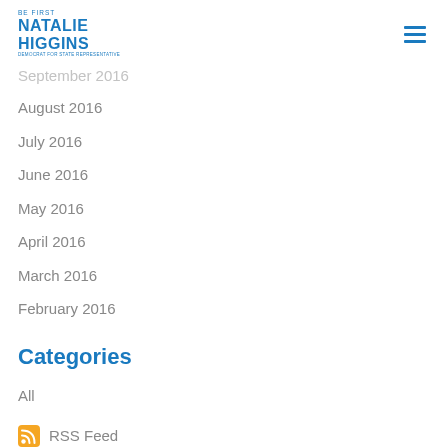BE FIRST NATALIE HIGGINS
September 2016
August 2016
July 2016
June 2016
May 2016
April 2016
March 2016
February 2016
Categories
All
RSS Feed